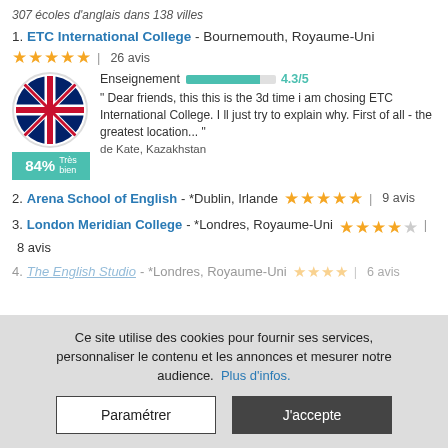307 écoles d'anglais dans 138 villes
1. ETC International College - Bournemouth, Royaume-Uni | ★★★★½ | 26 avis
Enseignement 4.3/5 — Dear friends, this this is the 3d time i am chosing ETC International College. I ll just try to explain why. First of all - the greatest location... — de Kate, Kazakhstan — 84% Très bien
2. Arena School of English - *Dublin, Irlande ★★★★★ | 9 avis
3. London Meridian College - *Londres, Royaume-Uni ★★★★☆ | 8 avis
4. The English Studio - *Londres, Royaume-Uni ★★★★ | 6 avis
Ce site utilise des cookies pour fournir ses services, personnaliser le contenu et les annonces et mesurer notre audience. Plus d'infos.
Paramétrer | J'accepte